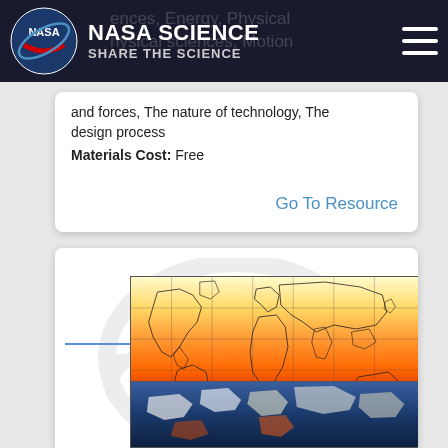NASA SCIENCE — SHARE THE SCIENCE
and forces, The nature of technology, The design process
Materials Cost: Free
Go To Resource
[Figure (map): World temperature heatmap showing global surface temperatures with color gradient from deep red (hottest) at equatorial regions to pale yellow at higher latitudes. Grid lines overlay the world map outline. A second map strip below shows an ocean/atmosphere view with blue tones and white cloud/ice features.]